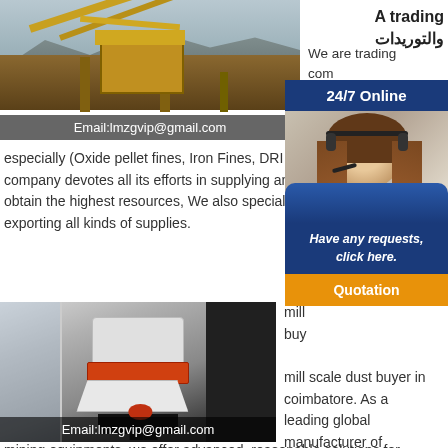[Figure (photo): Mining/quarry machinery with conveyor belts, industrial equipment against mountain backdrop]
Email:lmzgvip@gmail.com
A trading والتوريدات
We are trading com... Egy... in ra...
[Figure (infographic): 24/7 Online customer service widget showing a woman with headset, 'Have any requests, click here.' and Quotation button]
especially (Oxide pellet fines, Iron Fines, DRI fine... company devotes all its efforts in supplying and h... obtain the highest resources, We also specialize i... exporting all kinds of supplies.
[Figure (photo): Industrial cone crusher machine in a factory setting, white and orange colored]
Email:lmzgvip@gmail.com
mill ... buy... mill scale dust buyer in coimbatore. As a leading global manufacturer of crushing, grinding and mining equipments, we offer advanced, reasonable solutions for...